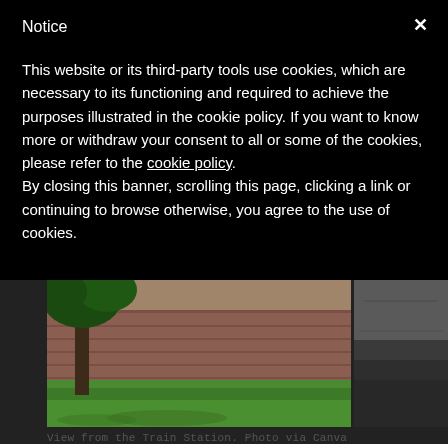Notice
This website or its third-party tools use cookies, which are necessary to its functioning and required to achieve the purposes illustrated in the cookie policy. If you want to know more or withdraw your consent to all or some of the cookies, please refer to the cookie policy.
By closing this banner, scrolling this page, clicking a link or continuing to browse otherwise, you agree to the use of cookies.
[Figure (photo): View of a green lawn with a tree in the foreground and a brick/stone wall in the background, visible from a train station area.]
[Figure (photo): Dark asphalt road/path photographed at an angle.]
View from the Train Station. Photo via Canva
Many trains arrive to and leave from Lucca every day. Here you will find the complete train schedul and the main routes to get around both from and t